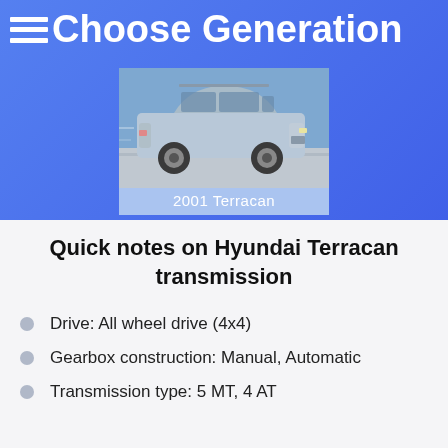Choose Generation
[Figure (photo): Photo of a silver Hyundai Terracan SUV driving on a road, side view. Caption reads '2001 Terracan'.]
2001 Terracan
Quick notes on Hyundai Terracan transmission
Drive: All wheel drive (4x4)
Gearbox construction: Manual, Automatic
Transmission type: 5 MT, 4 AT